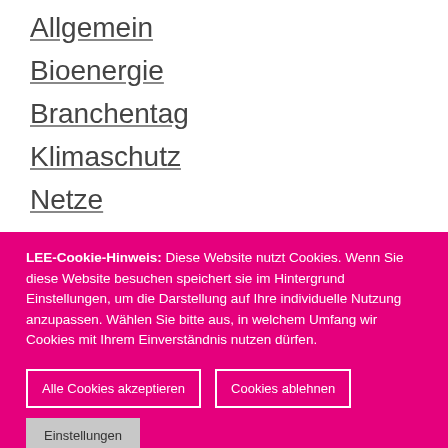Allgemein
Bioenergie
Branchentag
Klimaschutz
Netze
Pressemitteilungen
Solarenergie
LEE-Cookie-Hinweis: Diese Website nutzt Cookies. Wenn Sie diese Website besuchen speichert sie im Hintergrund Einstellungen, um die Darstellung auf Ihre individuelle Nutzung anzupassen. Wählen Sie bitte aus, in welchem Umfang wir Cookies mit Ihrem Einverständnis nutzen dürfen.
Alle Cookies akzeptieren | Cookies ablehnen | Einstellungen